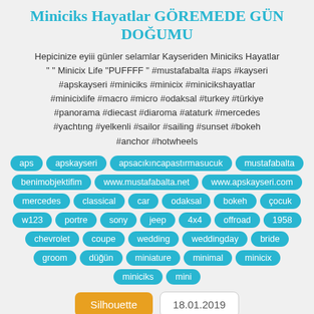Miniciks Hayatlar GÖREMEDE GÜN DOĞUMU
Hepicinize eyiii günler selamlar Kayseriden Miniciks Hayatlar " " Minicix Life "PUFFFF " #mustafabalta #aps #kayseri #apskayseri #miniciks #minicix #minicikshayatlar #minicixlife #macro #micro #odaksal #turkey #türkiye #panorama #diecast #diaroma #ataturk #mercedes #yachtıng #yelkenli #sailor #sailing #sunset #bokeh #anchor #hotwheels
aps
apskayseri
apsacıkıncapastırmasucuk
mustafabalta
benimobjektifim
www.mustafabalta.net
www.apskayseri.com
mercedes
classical
car
odaksal
bokeh
çocuk
w123
portre
sony
jeep
4x4
offroad
1958
chevrolet
coupe
wedding
weddingday
bride
groom
düğün
miniature
minimal
minicix
miniciks
mini
Silhouette   18.01.2019